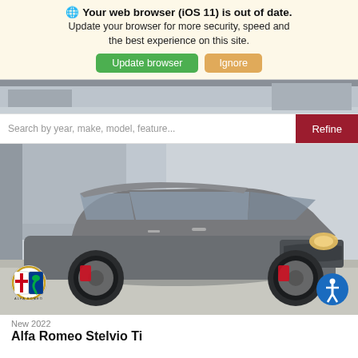🌐 Your web browser (iOS 11) is out of date. Update your browser for more security, speed and the best experience on this site.
Update browser | Ignore
[Figure (photo): Partial view of a car dealership exterior, grey wall and garage door background]
Search by year, make, model, feature...
Refine
[Figure (photo): Gray 2022 Alfa Romeo Stelvio Ti SUV parked on concrete, three-quarter front view, with red brake calipers and distinctive Alfa Romeo grille. Alfa Romeo logo badge bottom-left corner, accessibility icon bottom-right corner.]
New 2022
Alfa Romeo Stelvio Ti